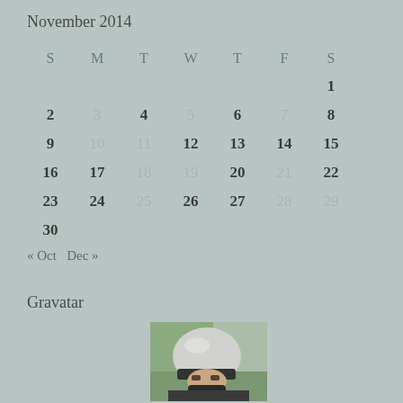November 2014
| S | M | T | W | T | F | S |
| --- | --- | --- | --- | --- | --- | --- |
|  |  |  |  |  |  | 1 |
| 2 | 3 | 4 | 5 | 6 | 7 | 8 |
| 9 | 10 | 11 | 12 | 13 | 14 | 15 |
| 16 | 17 | 18 | 19 | 20 | 21 | 22 |
| 23 | 24 | 25 | 26 | 27 | 28 | 29 |
| 30 |  |  |  |  |  |  |
« Oct   Dec »
Gravatar
[Figure (photo): Person wearing a white motorcycle helmet, face visible, outdoors background]